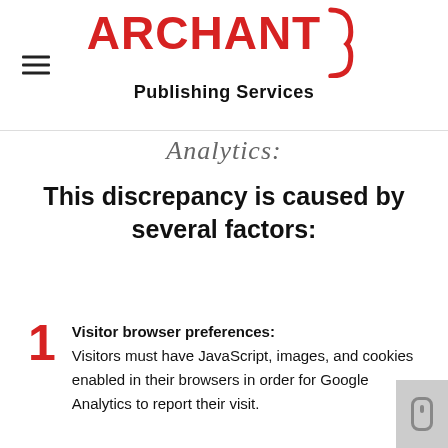ARCHANT Publishing Services
Analytics:
This discrepancy is caused by several factors:
1 Visitor browser preferences: Visitors must have JavaScript, images, and cookies enabled in their browsers in order for Google Analytics to report their visit.